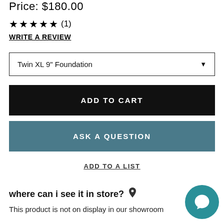Price: $180.00
★ ★ ★ ★ ★ (1)
WRITE A REVIEW
Twin XL 9" Foundation
ADD TO CART
ASK A QUESTION
ADD TO A LIST
where can i see it in store?
This product is not on display in our showroom